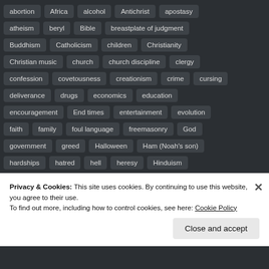abortion
Africa
alcohol
Antichrist
apostasy
atheism
beryl
Bible
breastplate of judgment
Buddhism
Catholicism
children
Christianity
Christian music
church
church discipline
clergy
confession
covetousness
creationism
crime
cursing
deliverance
drugs
economics
education
encouragement
End times
entertainment
evolution
faith
family
foul language
freemasonry
God
government
greed
Halloween
Ham (Noah's son)
hardships
hatred
hell
heresy
Hinduism
Privacy & Cookies: This site uses cookies. By continuing to use this website, you agree to their use.
To find out more, including how to control cookies, see here: Cookie Policy
Close and accept